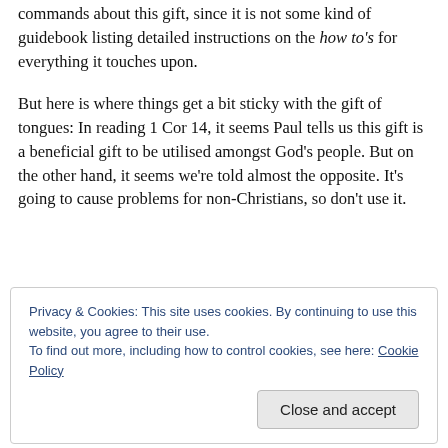And, again, I wouldn't expect Scripture to give exhaustive commands about this gift, since it is not some kind of guidebook listing detailed instructions on the how to's for everything it touches upon.
But here is where things get a bit sticky with the gift of tongues: In reading 1 Cor 14, it seems Paul tells us this gift is a beneficial gift to be utilised amongst God's people. But on the other hand, it seems we're told almost the opposite. It's going to cause problems for non-Christians, so don't use it.
Privacy & Cookies: This site uses cookies. By continuing to use this website, you agree to their use.
To find out more, including how to control cookies, see here: Cookie Policy